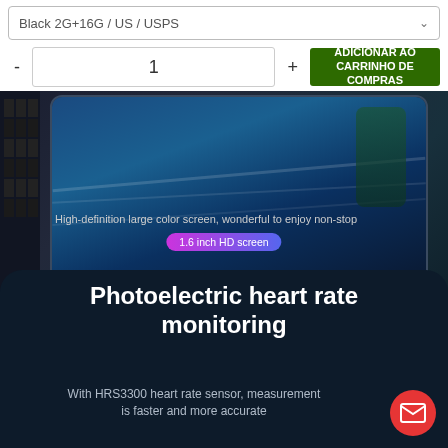Black 2G+16G / US / USPS
- 1 +
ADICIONAR AO CARRINHO DE COMPRAS
[Figure (photo): Smartphone lying on a dark surface displaying a vivid scene on screen, with text overlay: 'High-definition large color screen, wonderful to enjoy non-stop' and a purple/blue pill label '1.6 inch HD screen']
Photoelectric heart rate monitoring
With HRS3300 heart rate sensor, measurement is faster and more accurate